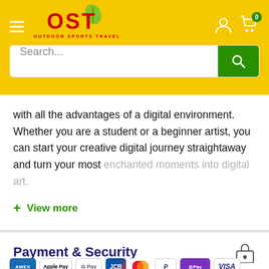[Figure (screenshot): OST Outdoor Sports Travel website header with yellow background, hamburger menu, logo, user icon, cart icon with badge '0', and search bar]
with all the advantages of a digital environment. Whether you are a student or a beginner artist, you can start your creative digital journey straightaway and turn your most enchanted moments into digital art.
+ View more
Payment & Security
[Figure (other): Payment method icons: AMEX, Apple Pay, G Pay, JCB, Mastercard, PayPal, O Pay, VISA]